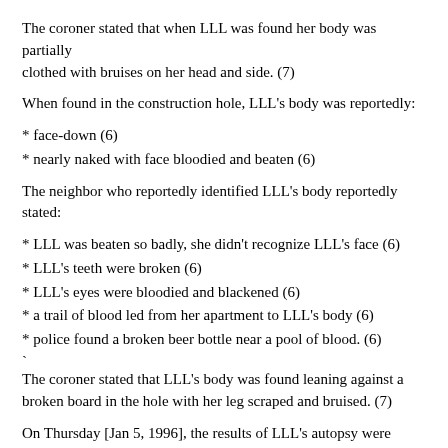The coroner stated that when LLL was found her body was partially clothed with bruises on her head and side. (7)
When found in the construction hole, LLL's body was reportedly:
* face-down (6)
* nearly naked with face bloodied and beaten (6)
The neighbor who reportedly identified LLL's body reportedly stated:
* LLL was beaten so badly, she didn't recognize LLL's face (6)
* LLL's teeth were broken (6)
* LLL's eyes were bloodied and blackened (6)
* a trail of blood led from her apartment to LLL's body (6)
* police found a broken beer bottle near a pool of blood. (6)
The coroner stated that LLL's body was found leaning against a broken board in the hole with her leg scraped and bruised. (7)
On Thursday [Jan 5, 1996], the results of LLL's autopsy were reported as inconclusive by Chief Medical Investigator Tom Faure.
He also said "The cause of death is pending further investigation